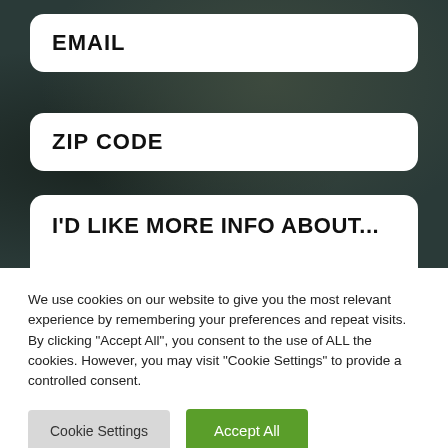EMAIL
ZIP CODE
I'D LIKE MORE INFO ABOUT...
We use cookies on our website to give you the most relevant experience by remembering your preferences and repeat visits. By clicking "Accept All", you consent to the use of ALL the cookies. However, you may visit "Cookie Settings" to provide a controlled consent.
Cookie Settings
Accept All